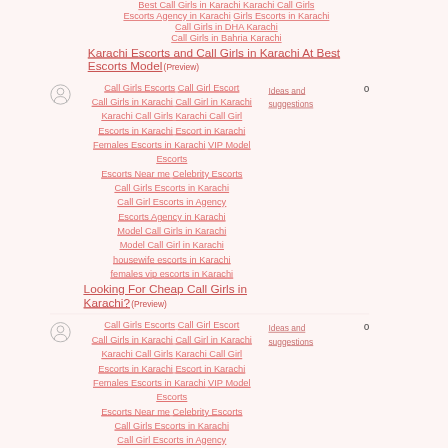Best Call Girls in Karachi Karachi Call Girls Escorts Agency in Karachi Girls Escorts in Karachi Call Girls in DHA Karachi Call Girls in Bahria Karachi Karachi Escorts and Call Girls in Karachi At Best Escorts Model (Preview)
Ideas and suggestions 0
Call Girls Escorts Call Girl Escort Call Girls in Karachi Call Girl in Karachi Karachi Call Girls Karachi Call Girl Escorts in Karachi Escort in Karachi Females Escorts in Karachi VIP Model Escorts Escorts Near me Celebrity Escorts Call Girls Escorts in Karachi Call Girl Escorts in Agency Escorts Agency in Karachi Model Call Girls in Karachi Model Call Girl in Karachi housewife escorts in Karachi females vip escorts in Karachi Looking For Cheap Call Girls in Karachi? (Preview)
Ideas and suggestions 0
Call Girls Escorts Call Girl Escort Call Girls in Karachi Call Girl in Karachi Karachi Call Girls Karachi Call Girl Escorts in Karachi Escort in Karachi Females Escorts in Karachi VIP Model Escorts Escorts Near me Celebrity Escorts Call Girls Escorts in Karachi Call Girl Escorts in Agency Escorts Agency in Karachi Model Call Girls in Karachi Model Call Girl in Karachi housewife escorts in Karachi females vip escorts in Karachi Sexy Females Escorts in Karachi By Locantocallgirls.com (Preview)